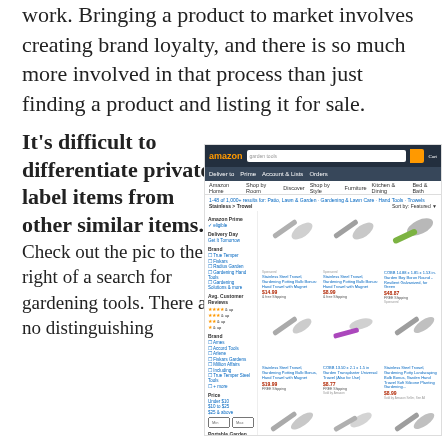work. Bringing a product to market involves creating brand loyalty, and there is so much more involved in that process than just finding a product and listing it for sale.
It's difficult to differentiate private label items from other similar items. Check out the pic to the right of a search for gardening tools. There are no distinguishing
[Figure (screenshot): Screenshot of Amazon search results page for 'garden trowel' showing multiple similar stainless steel trowel products from different sellers, with a left sidebar showing filters including Amazon Prime, delivery day, brand, customer reviews, price range, and color swatches.]